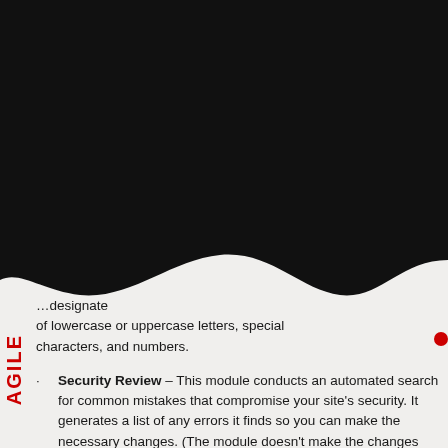[Figure (illustration): Black wave/banner decorative header covering the top half of the page with a wavy bottom edge]
designate of lowercase or uppercase letters, special characters, and numbers.
Security Review – This module conducts an automated search for common mistakes that compromise your site's security. It generates a list of any errors it finds so you can make the necessary changes. (The module doesn't make the changes itself.)